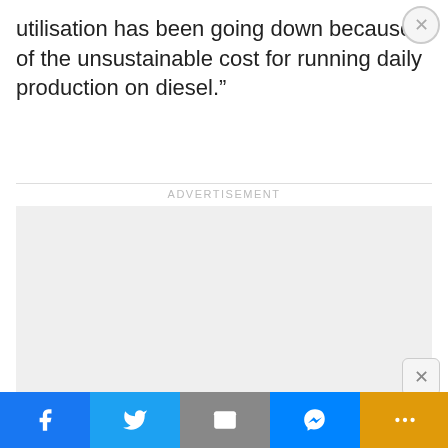utilisation has been going down because of the unsustainable cost for running daily production on diesel.”
[Figure (other): Advertisement placeholder box with ADVERTISEMENT label above it]
NEXT ARTICLE >